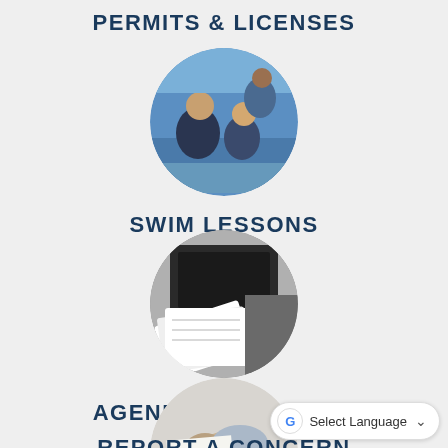PERMITS & LICENSES
[Figure (photo): Circular photo of swim lesson — instructor and child at a pool]
SWIM LESSONS
[Figure (photo): Circular photo of documents/agendas stacked on a desk]
AGENDAS & MINUTES
[Figure (photo): Circular photo of person at a computer/desk typing]
REPORT A CONCERN
Select Language